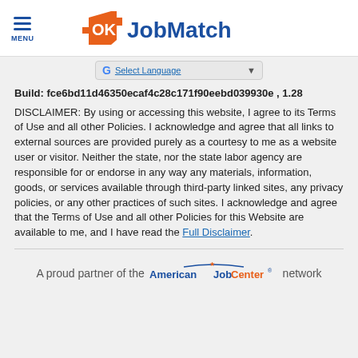MENU | OK JobMatch
Select Language
Build: fce6bd11d46350ecaf4c28c171f90eebd039930e , 1.28
DISCLAIMER: By using or accessing this website, I agree to its Terms of Use and all other Policies. I acknowledge and agree that all links to external sources are provided purely as a courtesy to me as a website user or visitor. Neither the state, nor the state labor agency are responsible for or endorse in any way any materials, information, goods, or services available through third-party linked sites, any privacy policies, or any other practices of such sites. I acknowledge and agree that the Terms of Use and all other Policies for this Website are available to me, and I have read the Full Disclaimer.
A proud partner of the American Job Center network